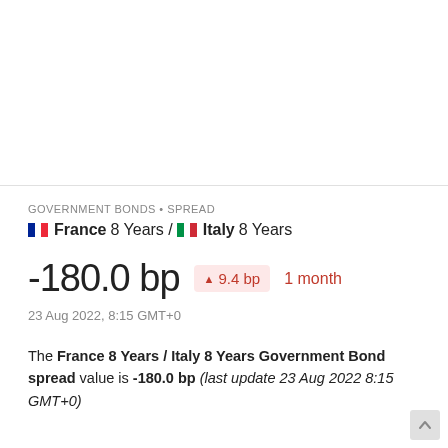[Figure (other): Empty chart area placeholder above a horizontal rule divider]
GOVERNMENT BONDS • SPREAD
France 8 Years / Italy 8 Years
-180.0 bp  ▲ 9.4 bp  1 month
23 Aug 2022, 8:15 GMT+0
The France 8 Years / Italy 8 Years Government Bond spread value is -180.0 bp (last update 23 Aug 2022 8:15 GMT+0)